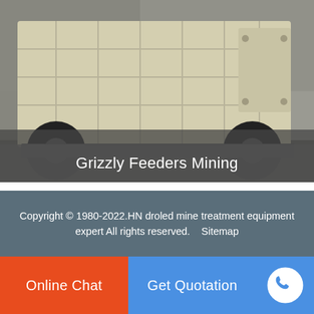[Figure (photo): Industrial mining machine (grizzly feeder / crusher) — large cream/beige colored heavy equipment with wheels, photographed outdoors on concrete.]
Grizzly Feeders Mining
[Figure (other): Scroll-to-top button: orange/red square with rounded corners, containing a white upward arrow icon.]
Copyright © 1980-2022.HN droled mine treatment equipment expert All rights reserved.    Sitemap
Online Chat
Get Quotation